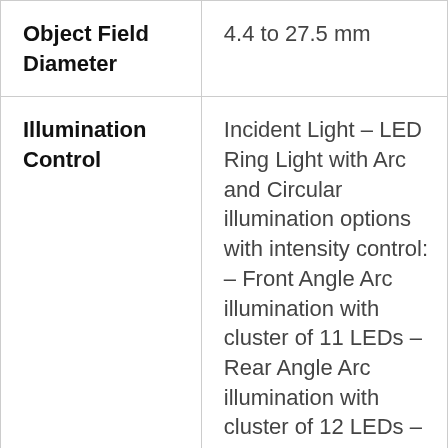| Property | Value |
| --- | --- |
| Object Field Diameter | 4.4 to 27.5 mm |
| Illumination Control | Incident Light – LED Ring Light with Arc and Circular illumination options with intensity control: – Front Angle Arc illumination with cluster of 11 LEDs – Rear Angle Arc illumination with cluster of 12 LEDs – Circular illumination with |